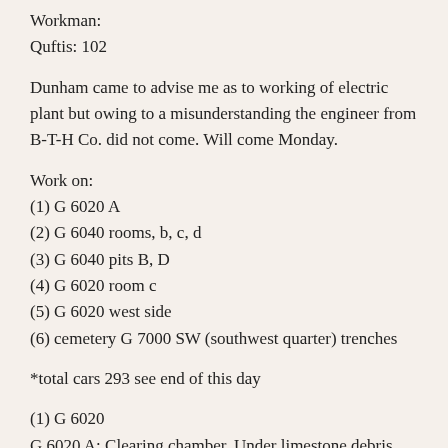Workman:
Quftis: 102
Dunham came to advise me as to working of electric plant but owing to a misunderstanding the engineer from B-T-H Co. did not come. Will come Monday.
Work on:
(1) G 6020 A
(2) G 6040 rooms, b, c, d
(3) G 6040 pits B, D
(4) G 6020 room c
(5) G 6020 west side
(6) cemetery G 7000 SW (southwest quarter) trenches
*total cars 293 see end of this day
(1) G 6020
G 6020 A: Clearing chamber. Under limestone debris sand on floor. In this sand, found five alabaster vessels [25-12